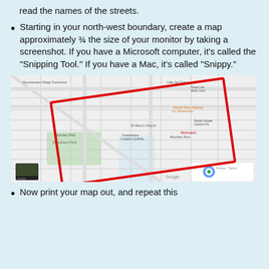Zoom in on your google map so that you can read the names of the streets.
Starting in your north-west boundary, create a map approximately ¾ the size of your monitor by taking a screenshot. If you have a Microsoft computer, it’s called the “Snipping Tool.” If you have a Mac, it’s called “Snippy.”
[Figure (screenshot): Google Maps screenshot showing a street map with a red rectangle drawn on it indicating a selected area. The map shows streets, landmarks including St Mary's Church, Meadows Park, McDonald's, Monkey Run, and other locations. A satellite view thumbnail is in the bottom left corner. A reCAPTCHA widget and Privacy-Terms link appear in the bottom right.]
Now print your map out, and repeat this